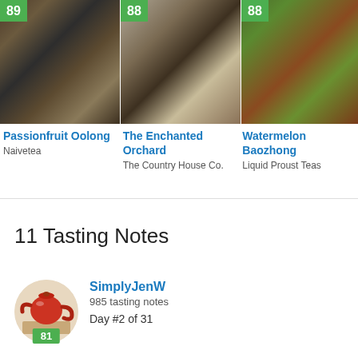[Figure (photo): Tea product image: Passionfruit Oolong loose leaf tea with score badge 89]
Passionfruit Oolong
Naivetea
[Figure (photo): Tea product image: The Enchanted Orchard loose leaf tea on white plate with score badge 88]
The Enchanted Orchard
The Country House Co.
[Figure (photo): Tea product image: Watermelon Baozhong loose leaf tea with score badge 88]
Watermelon Baozhong
Liquid Proust Teas
11 Tasting Notes
[Figure (photo): User avatar showing a red teapot on a wooden surface]
SimplyJenW
985 tasting notes
Day #2 of 31